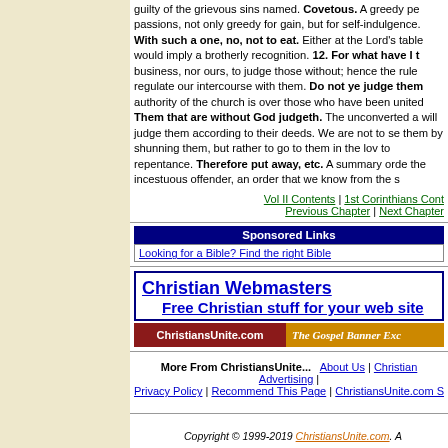guilty of the grievous sins named. Covetous. A greedy person passions, not only greedy for gain, but for self-indulgence. With such a one, no, not to eat. Either at the Lord's table or at common meals which would imply a brotherly recognition. 12. For what have I to do business, nor ours, to judge those without; hence the rule does not regulate our intercourse with them. Do not ye judge them authority of the church is over those who have been united to it. Them that are without God judgeth. The unconverted are not ours will judge them according to their deeds. We are not to separate from them by shunning them, but rather to go to them in the love that leads to repentance. Therefore put away, etc. A summary order concerning the incestuous offender, an order that we know from the same.
Vol II Contents | 1st Corinthians Contents | Previous Chapter | Next Chapter
Sponsored Links
Looking for a Bible? Find the right Bible
Christian Webmasters
Free Christian stuff for your web site
ChristiansUnite.com The Gospel Banner Exc
More From ChristiansUnite... About Us | Christian Advertising | Privacy Policy | Recommend This Page | ChristiansUnite.com S
Copyright © 1999-2019 ChristiansUnite.com. A